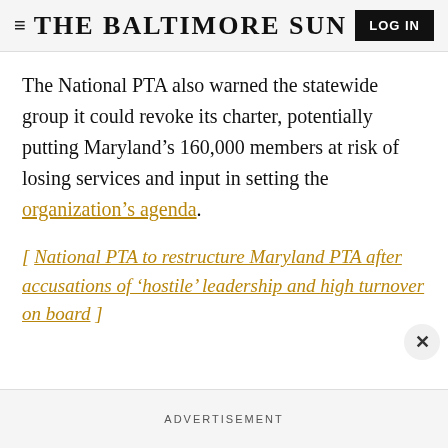THE BALTIMORE SUN | LOG IN
The National PTA also warned the statewide group it could revoke its charter, potentially putting Maryland's 160,000 members at risk of losing services and input in setting the organization's agenda.
[ National PTA to restructure Maryland PTA after accusations of 'hostile' leadership and high turnover on board ]
ADVERTISEMENT